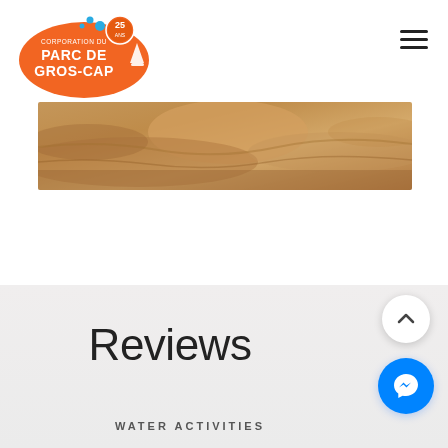[Figure (logo): Corporation du Parc de Gros-Cap logo, orange oval shape with white text and 25th anniversary badge]
[Figure (photo): Wide horizontal banner photo of sandy terrain/sand dunes with warm brown tones]
Reviews
WATER ACTIVITIES